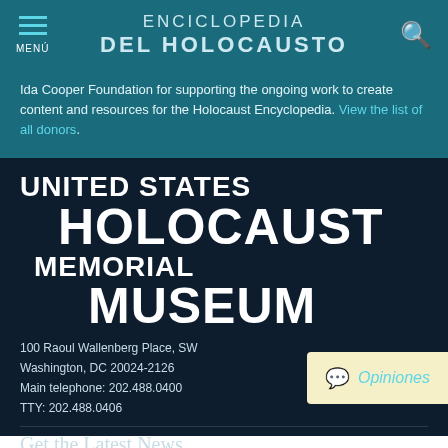ENCICLOPEDIA DEL HOLOCAUSTO
Ida Cooper Foundation for supporting the ongoing work to create content and resources for the Holocaust Encyclopedia. View the list of all donors.
[Figure (logo): United States Holocaust Memorial Museum logo in white bold text on dark navy background]
100 Raoul Wallenberg Place, SW
Washington, DC 20024-2126
Main telephone: 202.488.0400
TTY: 202.488.0406
Opiniones
Get the Latest News